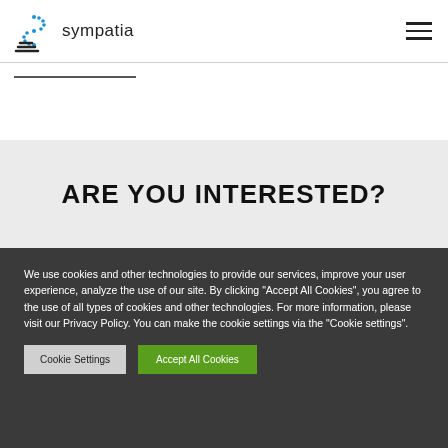sympatia
ARE YOU INTERESTED?
We use cookies and other technologies to provide our services, improve your user experience, analyze the use of our site. By clicking "Accept All Cookies", you agree to the use of all types of cookies and other technologies. For more information, please visit our Privacy Policy. You can make the cookie settings via the "Cookie settings".
Cookie Settings | Accept All Cookies